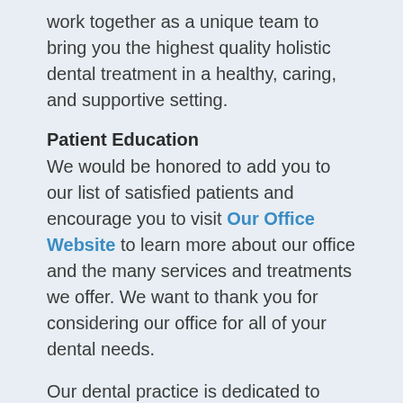work together as a unique team to bring you the highest quality holistic dental treatment in a healthy, caring, and supportive setting.
Patient Education
We would be honored to add you to our list of satisfied patients and encourage you to visit Our Office Website to learn more about our office and the many services and treatments we offer. We want to thank you for considering our office for all of your dental needs.
Our dental practice is dedicated to patient education. As a member of Dr. Tom McGuire's International Association of Mercury Safe Dentists (IAMSD) we work closely with him to support our goal of providing important